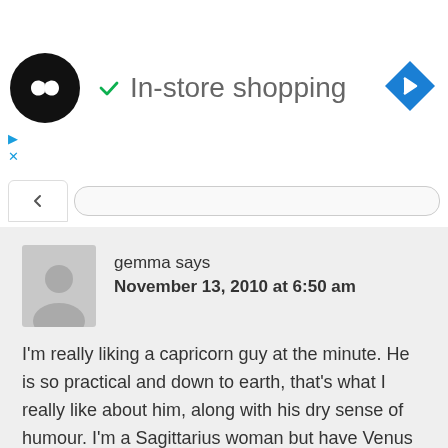[Figure (screenshot): Ad banner showing a black circular logo with infinity-like symbol, a green checkmark with 'In-store shopping' text, and a blue diamond navigation icon on the right. Small cyan play and X icons below on the left.]
[Figure (screenshot): Browser navigation bar with back chevron tab and URL bar.]
gemma says
November 13, 2010 at 6:50 am
I'm really liking a capricorn guy at the minute. He is so practical and down to earth, that's what I really like about him, along with his dry sense of humour. I'm a Sagittarius woman but have Venus in Capricorn, also Moon, Saturn , Uranus and Neptune in Capricorn, so I have quite a few Capricorn qualities and characteristics, along with some common Sagittarius ones too.